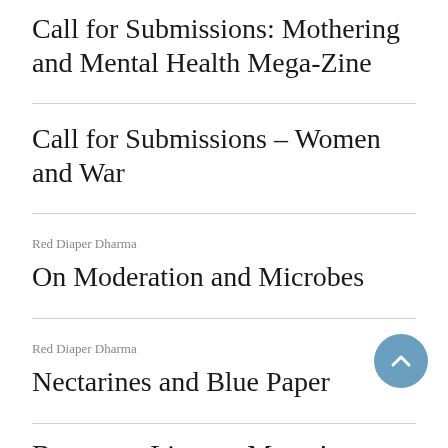Call for Submissions: Mothering and Mental Health Mega-Zine
Call for Submissions – Women and War
Red Diaper Dharma
On Moderation and Microbes
Red Diaper Dharma
Nectarines and Blue Paper
Become a Literary Mama! Seeking Editors and Editorial Assistants